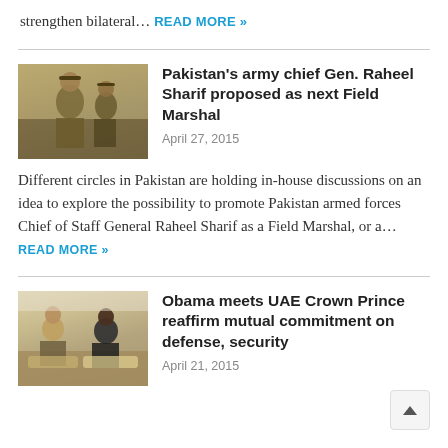strengthen bilateral… READ MORE »
Pakistan's army chief Gen. Raheel Sharif proposed as next Field Marshal
April 27, 2015
[Figure (photo): Military officers in uniform, Pakistan army]
Different circles in Pakistan are holding in-house discussions on an idea to explore the possibility to promote Pakistan armed forces Chief of Staff General Raheel Sharif as a Field Marshal, or a… READ MORE »
Obama meets UAE Crown Prince reaffirm mutual commitment on defense, security
April 21, 2015
[Figure (photo): Obama meeting with UAE Crown Prince, seated in formal setting]